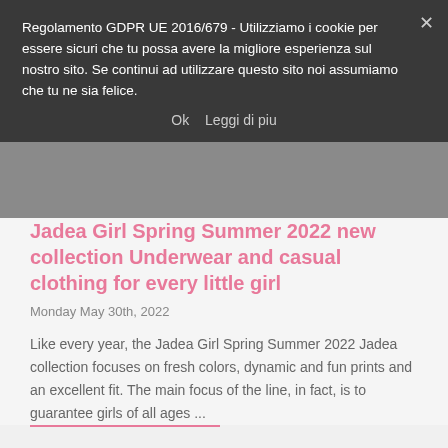Regolamento GDPR UE 2016/679 - Utilizziamo i cookie per essere sicuri che tu possa avere la migliore esperienza sul nostro sito. Se continui ad utilizzare questo sito noi assumiamo che tu ne sia felice.
Ok   Leggi di piu
Jadea Girl Spring Summer 2022 new collection Underwear and casual clothing for every little girl
Monday May 30th, 2022
Like every year, the Jadea Girl Spring Summer 2022 Jadea collection focuses on fresh colors, dynamic and fun prints and an excellent fit. The main focus of the line, in fact, is to guarantee girls of all ages ...
CATEGORIES